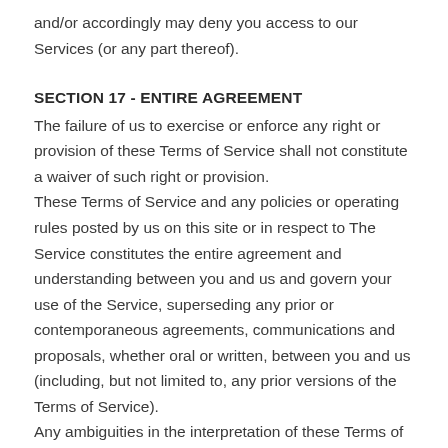and/or accordingly may deny you access to our Services (or any part thereof).
SECTION 17 - ENTIRE AGREEMENT
The failure of us to exercise or enforce any right or provision of these Terms of Service shall not constitute a waiver of such right or provision.
These Terms of Service and any policies or operating rules posted by us on this site or in respect to The Service constitutes the entire agreement and understanding between you and us and govern your use of the Service, superseding any prior or contemporaneous agreements, communications and proposals, whether oral or written, between you and us (including, but not limited to, any prior versions of the Terms of Service).
Any ambiguities in the interpretation of these Terms of Service shall not be construed against the drafting party.